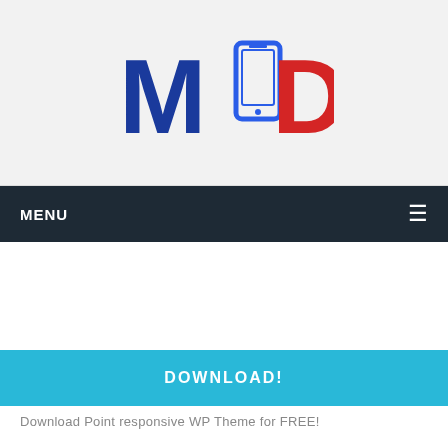[Figure (logo): MOD logo with blue M, smartphone icon, and red D on grey background]
MENU ☰
[Figure (other): Advertisement area (blank white space)]
DOWNLOAD!
Download Point responsive WP Theme for FREE!
SONGZA STEALING PANDORA'S MUSIC THUNDER